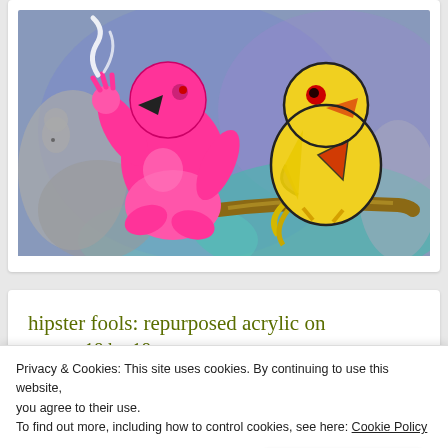[Figure (illustration): Colorful painting showing a pink anthropomorphic creature (possibly a flamingo or fantasy animal) smoking, sitting next to a yellow cartoon bird perched on a brown branch, against a blue/purple background.]
hipster fools: repurposed acrylic on canvas 18 by 18
Privacy & Cookies: This site uses cookies. By continuing to use this website, you agree to their use.
To find out more, including how to control cookies, see here: Cookie Policy